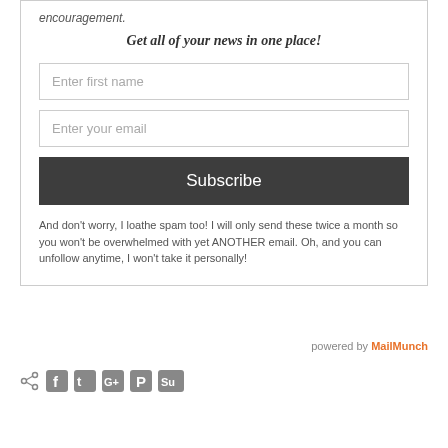encouragement.
Get all of your news in one place!
Enter first name
Enter your email
Subscribe
And don't worry, I loathe spam too! I will only send these twice a month so you won't be overwhelmed with yet ANOTHER email. Oh, and you can unfollow anytime, I won't take it personally!
powered by MailMunch
[Figure (infographic): Social share icons row: share icon, Facebook, Twitter, Google+, Pinterest, StumbleUpon]